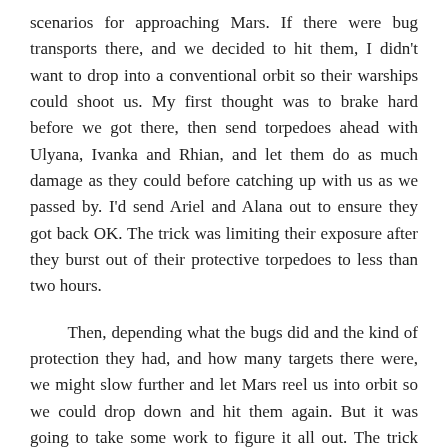scenarios for approaching Mars. If there were bug transports there, and we decided to hit them, I didn't want to drop into a conventional orbit so their warships could shoot us. My first thought was to brake hard before we got there, then send torpedoes ahead with Ulyana, Ivanka and Rhian, and let them do as much damage as they could before catching up with us as we passed by. I'd send Ariel and Alana out to ensure they got back OK. The trick was limiting their exposure after they burst out of their protective torpedoes to less than two hours.
Then, depending what the bugs did and the kind of protection they had, and how many targets there were, we might slow further and let Mars reel us into orbit so we could drop down and hit them again. But it was going to take some work to figure it all out. The trick was keeping the plan fluid.
I gave the crew five hours to recover from their exposure,